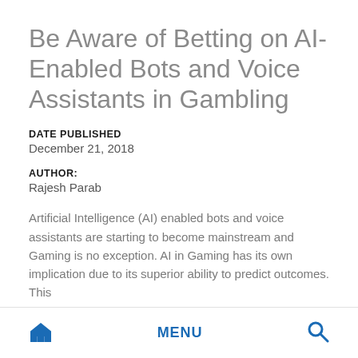Be Aware of Betting on AI-Enabled Bots and Voice Assistants in Gambling
DATE PUBLISHED
December 21, 2018
AUTHOR:
Rajesh Parab
Artificial Intelligence (AI) enabled bots and voice assistants are starting to become mainstream and Gaming is no exception. AI in Gaming has its own implication due to its superior ability to predict outcomes. This
Home  MENU  Search